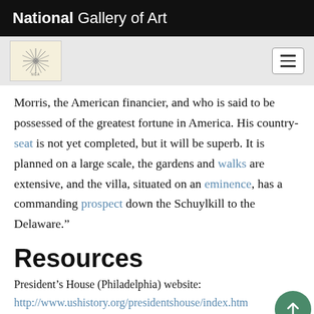National Gallery of Art
[Figure (logo): National Gallery of Art logo - decorative star/compass design on cream background, plus hamburger menu button]
Morris, the American financier, and who is said to be possessed of the greatest fortune in America. His country-seat is not yet completed, but it will be superb. It is planned on a large scale, the gardens and walks are extensive, and the villa, situated on an eminence, has a commanding prospect down the Schuylkill to the Delaware.”
Resources
President’s House (Philadelphia) website:
http://www.ushistory.org/presidentshouse/index.htm